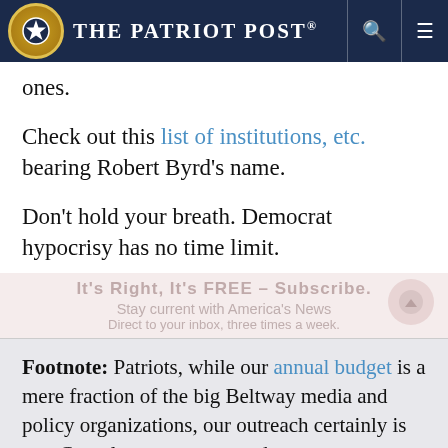The Patriot Post
ones.
Check out this list of institutions, etc. bearing Robert Byrd's name.
Don't hold your breath. Democrat hypocrisy has no time limit.
It's Right, It's FREE – Subscribe.
Stay current with America's News... [subscribe overlay]
Footnote: Patriots, while our annual budget is a mere fraction of the big Beltway media and policy organizations, our outreach certainly is not. Countless grassroots and grasstops conservatives rely on The Patriot Post as their primary touchstone for Liberty, and we remain the most cost-effective conservative force multiplier on the Web.